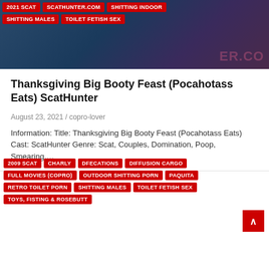[Figure (photo): Dark background image of a website, partially visible. Tags overlay on top-left: 2021 SCAT, SCATHUNTER.COM, SHITTING INDOOR, SHITTING MALES, TOILET FETISH SEX. Blurred background image with partial text visible at right edge.]
Thanksgiving Big Booty Feast (Pocahotass Eats) ScatHunter
August 23, 2021 / copro-lover
Information: Title: Thanksgiving Big Booty Feast (Pocahotass Eats) Cast: ScatHunter Genre: Scat, Couples, Domination, Poop, Smearing,...
[Figure (photo): Dark background image with pink bold text reading LE RETOUR DE partially visible. Tags overlaid below: 2009 SCAT, CHARLY, DFECATIONS, DIFFUSION CARGO, FULL MOVIES (COPRO), OUTDOOR SHITTING PORN, PAQUITA, RETRO TOILET PORN, SHITTING MALES, TOILET FETISH SEX, TOYS FISTING & ROSEBUTT. A red scroll-to-top button with an up-arrow is visible at the right.]